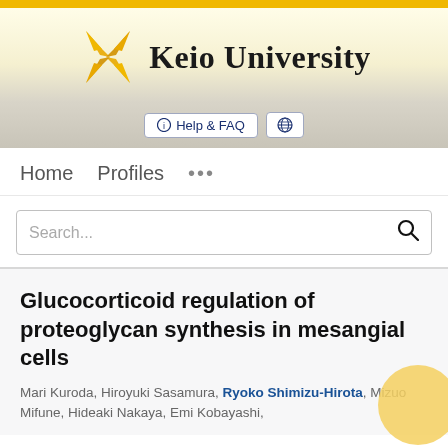[Figure (logo): Keio University logo with crossed pen nibs in gold/yellow and the text 'Keio University' in serif font]
[Figure (screenshot): Navigation bar with Help & FAQ button and globe icon button]
Home   Profiles   ...
Search...
Glucocorticoid regulation of proteoglycan synthesis in mesangial cells
Mari Kuroda, Hiroyuki Sasamura, Ryoko Shimizu-Hirota, Mizuo Mifune, Hideaki Nakaya, Emi Kobayashi,